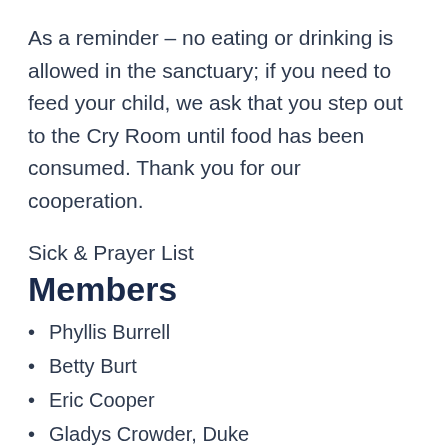As a reminder – no eating or drinking is allowed in the sanctuary; if you need to feed your child, we ask that you step out to the Cry Room until food has been consumed. Thank you for our cooperation.
Sick & Prayer List
Members
Phyllis Burrell
Betty Burt
Eric Cooper
Gladys Crowder, Duke
Toni Gordon, PruittHealth